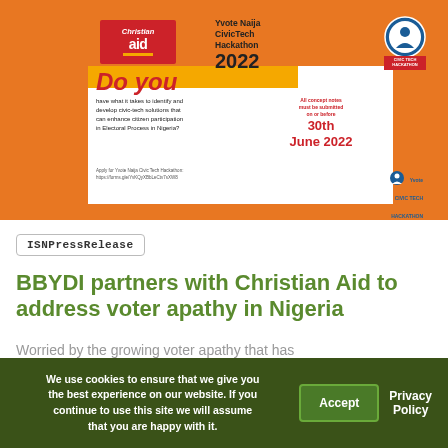[Figure (infographic): Yvote Naija CivicTech Hackathon 2022 banner with Christian Aid logo, orange background, white card showing 'Do you have what it takes to identify and develop civic-tech solutions that can enhance citizen participation in Electoral Process in Nigeria?' with deadline 30th June 2022]
ISNPressRelease
BBYDI partners with Christian Aid to address voter apathy in Nigeria
Worried by the growing voter apathy that has
We use cookies to ensure that we give you the best experience on our website. If you continue to use this site we will assume that you are happy with it.
Accept
Privacy Policy